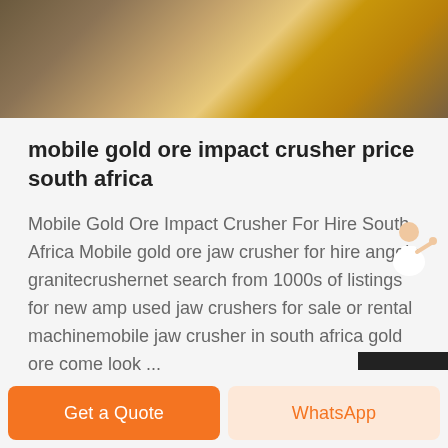[Figure (photo): Top portion showing industrial/construction equipment in yellow and brown tones]
mobile gold ore impact crusher price south africa
Mobile Gold Ore Impact Crusher For Hire South Africa Mobile gold ore jaw crusher for hire angola granitecrushernet search from 1000s of listings for new amp used jaw crushers for sale or rental machinemobile jaw crusher in south africa gold ore come look ...